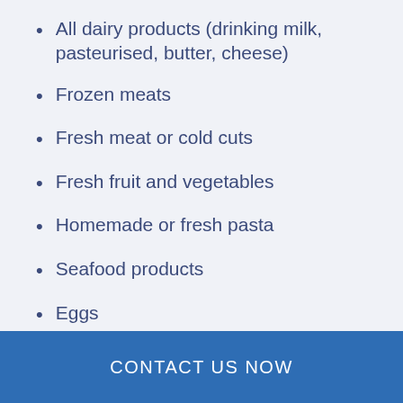All dairy products (drinking milk, pasteurised, butter, cheese)
Frozen meats
Fresh meat or cold cuts
Fresh fruit and vegetables
Homemade or fresh pasta
Seafood products
Eggs
CONTACT US NOW